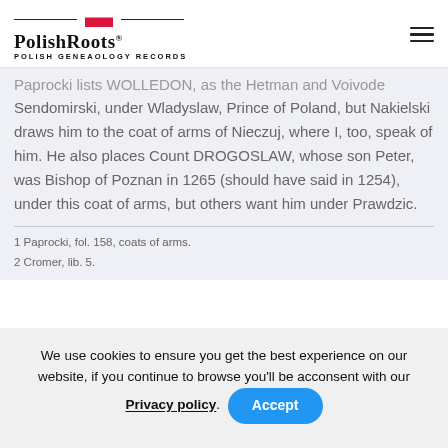PolishRoots® Polish Geneaology Records
Paprocki lists WOLLEDON, as the Hetman and Voivode Sendomirski, under Wladyslaw, Prince of Poland, but Nakielski draws him to the coat of arms of Nieczuj, where I, too, speak of him. He also places Count DROGOSLAW, whose son Peter, was Bishop of Poznan in 1265 (should have said in 1254), under this coat of arms, but others want him under Prawdzic.
1 Paprocki, fol. 158, coats of arms.
2 Cromer, lib. 5.
We use cookies to ensure you get the best experience on our website, if you continue to browse you'll be acconsent with our Privacy policy.